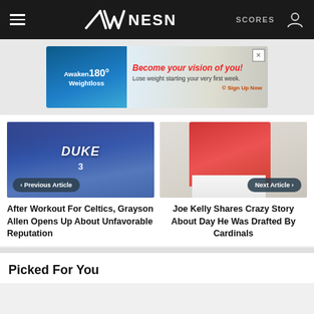NESN — SCORES
[Figure (screenshot): Advertisement banner: Awaken180 Weightloss — Become your vision of you! Lose weight starting your very first week. Sign Up Now]
[Figure (photo): Duke basketball player #3 dribbling — Previous Article navigation button]
After Workout For Celtics, Grayson Allen Opens Up About Unfavorable Reputation
[Figure (photo): Red Sox pitcher throwing — Next Article navigation button]
Joe Kelly Shares Crazy Story About Day He Was Drafted By Cardinals
Picked For You